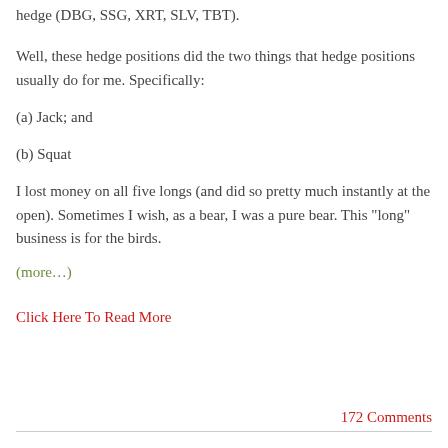hedge (DBG, SSG, XRT, SLV, TBT).
Well, these hedge positions did the two things that hedge positions usually do for me. Specifically:
(a) Jack; and
(b) Squat
I lost money on all five longs (and did so pretty much instantly at the open). Sometimes I wish, as a bear, I was a pure bear. This "long" business is for the birds.
(more…)
Click Here To Read More
172 Comments